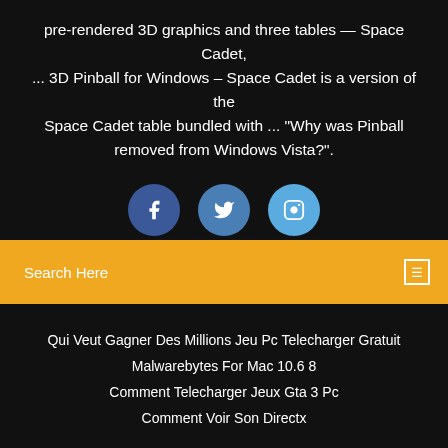pre-rendered 3D graphics and three tables — Space Cadet, ... 3D Pinball for Windows – Space Cadet is a version of the Space Cadet table bundled with ... "Why was Pinball removed from Windows Vista?".
[Figure (other): Three circular social media icon buttons: Facebook (dark blue), Twitter (medium blue), Instagram (light blue), partially cut off at bottom.]
Search Here
Qui Veut Gagner Des Millions Jeu Pc Telecharger Gratuit
Malwarebytes For Mac 10.6 8
Comment Telecharger Jeux Gta 3 Pc
Comment Voir Son Directx
Copyright ©2022 All rights reserved